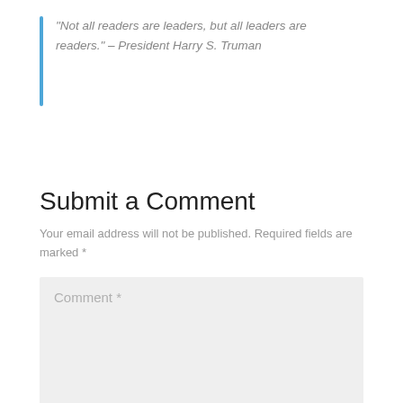“Not all readers are leaders, but all leaders are readers.” – President Harry S. Truman
Submit a Comment
Your email address will not be published. Required fields are marked *
Comment *